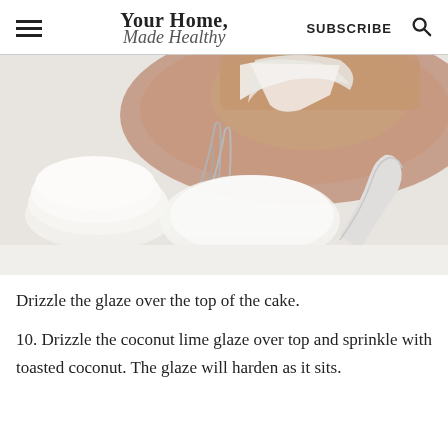Your Home, Made Healthy | SUBSCRIBE
[Figure (photo): Top-down photo of a cake on a wooden board with white plates, forks, and a cake server on a light background]
Drizzle the glaze over the top of the cake.
10. Drizzle the coconut lime glaze over top and sprinkle with toasted coconut. The glaze will harden as it sits.